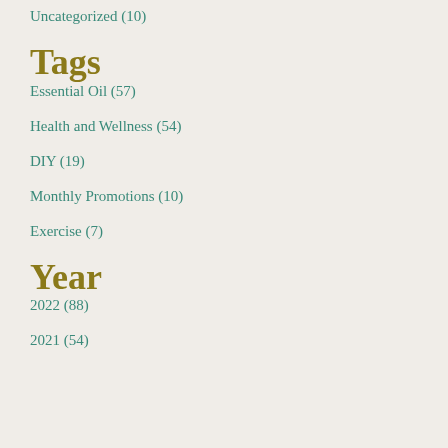Uncategorized (10)
Tags
Essential Oil (57)
Health and Wellness (54)
DIY (19)
Monthly Promotions (10)
Exercise (7)
Year
2022 (88)
2021 (54)